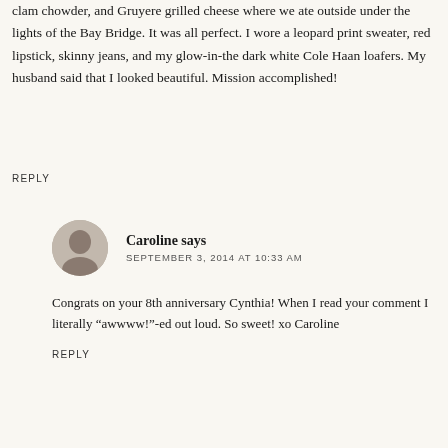clam chowder, and Gruyere grilled cheese where we ate outside under the lights of the Bay Bridge. It was all perfect. I wore a leopard print sweater, red lipstick, skinny jeans, and my glow-in-the dark white Cole Haan loafers. My husband said that I looked beautiful. Mission accomplished!
REPLY
Caroline says
SEPTEMBER 3, 2014 AT 10:33 AM
Congrats on your 8th anniversary Cynthia! When I read your comment I literally “awwww!”-ed out loud. So sweet! xo Caroline
REPLY